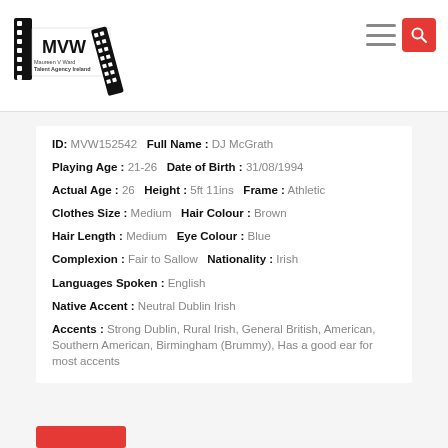[Figure (logo): MVW Maureen V Ward Talent Agency Ireland logo with film strip graphic]
ID: MVW152542   Full Name : DJ McGrath
Playing Age : 21-26   Date of Birth : 31/08/1994
Actual Age : 26   Height : 5ft 11ins   Frame : Athletic
Clothes Size : Medium   Hair Colour : Brown
Hair Length : Medium   Eye Colour : Blue
Complexion : Fair to Sallow   Nationality : Irish
Languages Spoken : English
Native Accent : Neutral Dublin Irish
Accents : Strong Dublin, Rural Irish, General British, American, Southern American, Birmingham (Brummy), Has a good ear for most accents